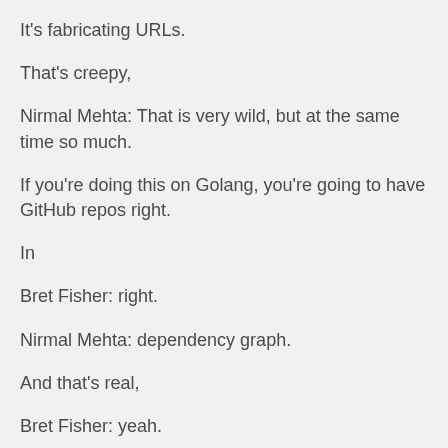It's fabricating URLs.
That's creepy,
Nirmal Mehta: That is very wild, but at the same time so much.
If you're doing this on Golang, you're going to have GitHub repos right.
In
Bret Fisher: right.
Nirmal Mehta: dependency graph.
And that's real,
Bret Fisher: yeah.
The weird thing is that it responds to comments.